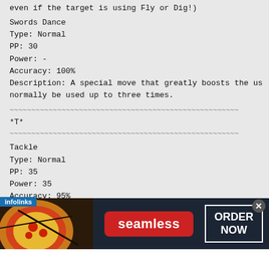even if the target is using Fly or Dig!)
Swords Dance
Type: Normal
PP: 30
Power: -
Accuracy: 100%
Description: A special move that greatly boosts the us
normally be used up to three times.
~~~~~~~~~~~~~~~~~~~~~~~~~~~~~~~~~~~~~~~~~~~~~~~~~~~~~
*T*
~~~~~~~~~~~~~~~~~~~~~~~~~~~~~~~~~~~~~~~~~~~~~~~~~~~~~
Tackle
Type: Normal
PP: 35
Power: 35
Accuracy: 95%
Description: A Normal-type attack. Many Pokemon know t
the start.
Tail Whip
Type: Normal
[Figure (screenshot): Advertisement banner: infolinks badge, Seamless pizza delivery ad with pizza image, seamless red button, ORDER NOW white-border button, and close X button]